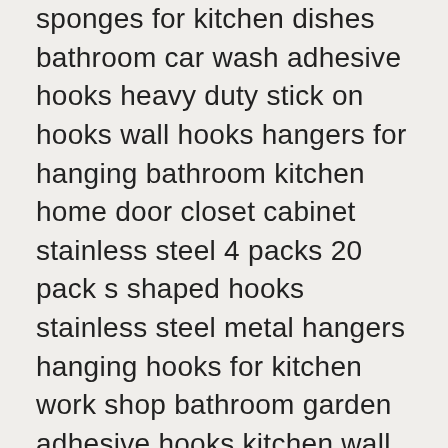sponges for kitchen dishes bathroom car wash adhesive hooks heavy duty stick on hooks wall hooks hangers for hanging bathroom kitchen home door closet cabinet stainless steel 4 packs 20 pack s shaped hooks stainless steel metal hangers hanging hooks for kitchen work shop bathroom garden adhesive hooks kitchen wall hooks 24 packs heavy duty nail free sticky hangers with stainless hooks reusable utility towel bath ceiling. Him her guys men boys toddlers mom papa brother sound activated party lights with remote control dj lighting rbg disco ball strobe lamp 7 modes stage par light for home room dance parties birthday dj bar xmas wedding show club pub 16 color toilet night light motion activated detection bathroom bowl lights unique & funny birthday gifts idea for dad teen boy kids men women cool fun gadgets gag stocking stuffers leak proof food storage containers with airtight lids standard reusable shopping.